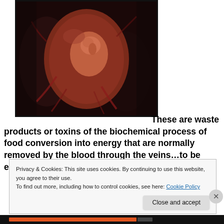[Figure (photo): Dark artistic/scientific illustration of what appears to be an embryo or fetus inside an organic egg-like structure, surrounded by dark mechanical or biological elements. Red and brown tones dominate.]
These are waste products or toxins of the biochemical process of food conversion into energy that are normally removed by the blood through the veins…to be expelled
Privacy & Cookies: This site uses cookies. By continuing to use this website, you agree to their use.
To find out more, including how to control cookies, see here: Cookie Policy
Close and accept